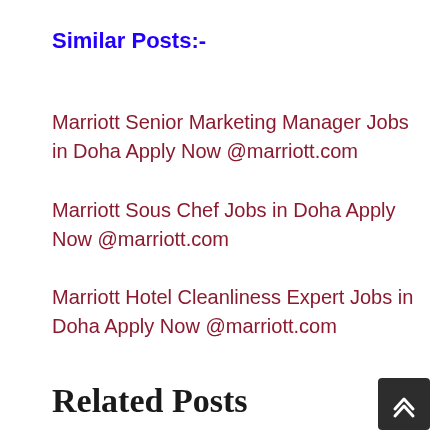Similar Posts:-
Marriott Senior Marketing Manager Jobs in Doha Apply Now @marriott.com
Marriott Sous Chef Jobs in Doha Apply Now @marriott.com
Marriott Hotel Cleanliness Expert Jobs in Doha Apply Now @marriott.com
Related Posts